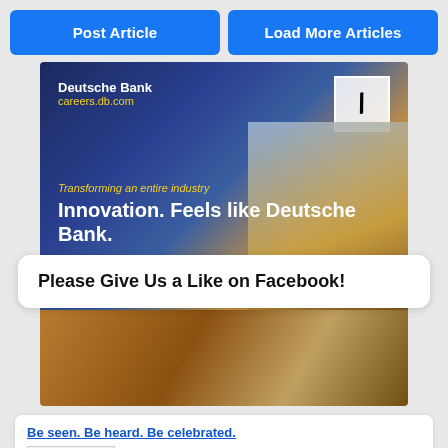Post Article
Load More Articles
[Figure (photo): Deutsche Bank careers advertisement banner. Text reads: Deutsche Bank, careers.db.com, Transforming an entire industry, Innovation. Feels like Deutsche Bank. Features image of ice cream cone and Deutsche Bank logo.]
Please Give Us a Like on Facebook!
[Figure (photo): Lower portion of the Deutsche Bank ad showing a hand holding an ice cream cone against a warm background.]
Be seen. Be heard. Be celebrated.
[Figure (photo): AWS thumbnail image with text: Be seen. Be heard. Be celebrated. Apply today and help define the future of technology.]
AWS Professional Services is a diverse, global team of experts delivering unmatched cloud solutions. Join us and help change the way the world works.